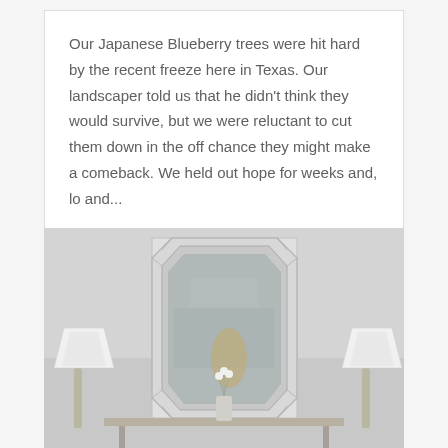Our Japanese Blueberry trees were hit hard by the recent freeze here in Texas. Our landscaper told us that he didn't think they would survive, but we were reluctant to cut them down in the off chance they might make a comeback. We held out hope for weeks and, lo and...
[Figure (photo): Interior room photo showing a decorative wall mirror with beveled edges and silver frame, flanked by two table lamps with white shades on silver bases, and a small glass vase with white flowers in the center on a console table.]